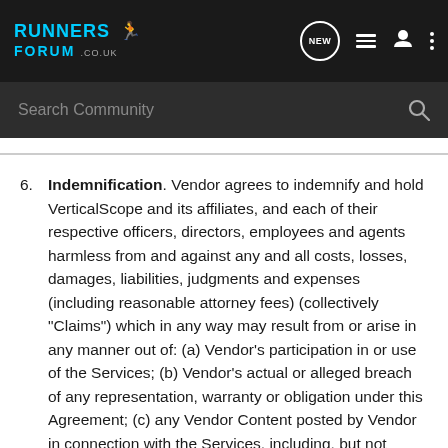RUNNERS FORUM .co.uk — Search Community
6. Indemnification. Vendor agrees to indemnify and hold VerticalScope and its affiliates, and each of their respective officers, directors, employees and agents harmless from and against any and all costs, losses, damages, liabilities, judgments and expenses (including reasonable attorney fees) (collectively "Claims") which in any way may result from or arise in any manner out of: (a) Vendor's participation in or use of the Services; (b) Vendor's actual or alleged breach of any representation, warranty or obligation under this Agreement; (c) any Vendor Content posted by Vendor in connection with the Services, including, but not limited to, any Claim alleging that the Vendor Content (i) misappropriates a third party's name, contains libelous or defamatory content or violate a third party's right of privacy or